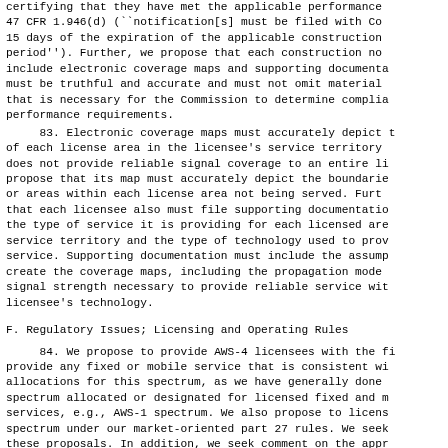certifying that they have met the applicable performance 47 CFR 1.946(d) (``notification[s] must be filed with Co 15 days of the expiration of the applicable construction period''). Further, we propose that each construction not include electronic coverage maps and supporting documenta must be truthful and accurate and must not omit material that is necessary for the Commission to determine complia performance requirements.
83. Electronic coverage maps must accurately depict t of each license area in the licensee's service territory does not provide reliable signal coverage to an entire li propose that its map must accurately depict the boundarie or areas within each license area not being served. Furth that each licensee also must file supporting documentatio the type of service it is providing for each licensed are service territory and the type of technology used to prov service. Supporting documentation must include the assump create the coverage maps, including the propagation model signal strength necessary to provide reliable service wit licensee's technology.
F. Regulatory Issues; Licensing and Operating Rules
84. We propose to provide AWS-4 licensees with the fi provide any fixed or mobile service that is consistent wi allocations for this spectrum, as we have generally done spectrum allocated or designated for licensed fixed and m services, e.g., AWS-1 spectrum. We also propose to licens spectrum under our market-oriented part 27 rules. We seek these proposals. In addition, we seek comment on the appr